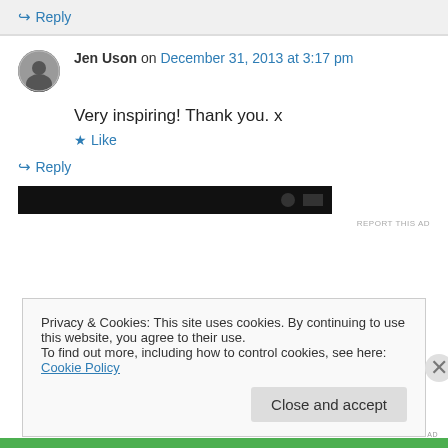↪ Reply
Jen Uson on December 31, 2013 at 3:17 pm
Very inspiring! Thank you. x
★ Like
↪ Reply
[Figure (screenshot): Dark advertisement banner, partially visible]
REPORT THIS AD
Privacy & Cookies: This site uses cookies. By continuing to use this website, you agree to their use.
To find out more, including how to control cookies, see here: Cookie Policy
Close and accept